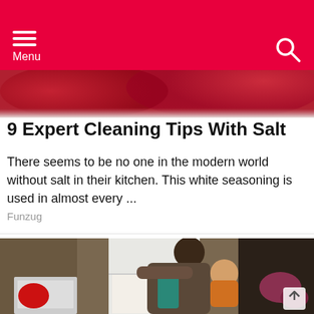Menu
[Figure (photo): Top partial image strip showing red/dark background, presumably part of a food or salt-related image]
9 Expert Cleaning Tips With Salt
There seems to be no one in the modern world without salt in their kitchen. This white seasoning is used in almost every ...
Funzug
[Figure (photo): A woman holding a baby while opening a refrigerator in a kitchen. The kitchen has a red kettle on the left and plants by the window on the right.]